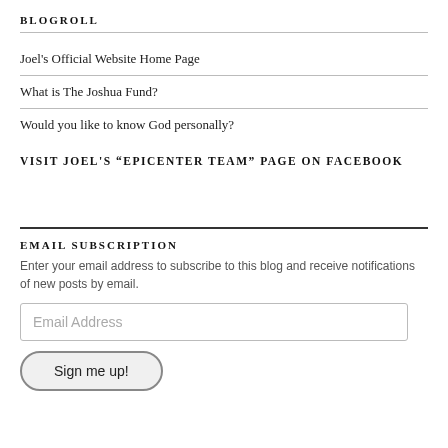BLOGROLL
Joel's Official Website Home Page
What is The Joshua Fund?
Would you like to know God personally?
VISIT JOEL'S “EPICENTER TEAM” PAGE ON FACEBOOK
EMAIL SUBSCRIPTION
Enter your email address to subscribe to this blog and receive notifications of new posts by email.
Email Address
Sign me up!